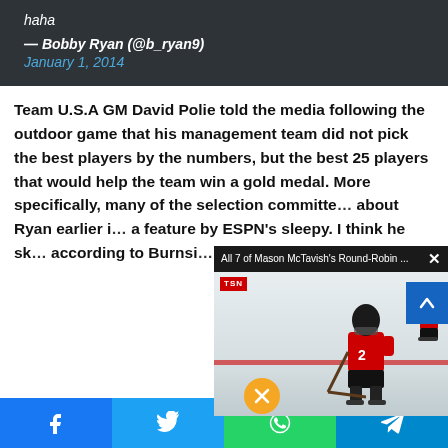haha
— Bobby Ryan (@b_ryan9) January 1, 2014
Team U.S.A GM David Polie told the media following the outdoor game that his management team did not pick the best players by the numbers, but the best 25 players that would help the team win a gold medal. More specifically, many of the selection committe[e] about Ryan earlier i[n] a feature by ESPN's sleepy. I think he sk[ated] according to Burnsi[de]
[Figure (screenshot): Video popup overlay showing 'All 7 of Mason McTavish's Round-Robin ...' hockey video from TSN with mute button and close (X) button]
[Figure (screenshot): Social share bar with Facebook, Twitter, WhatsApp, and Telegram icons]